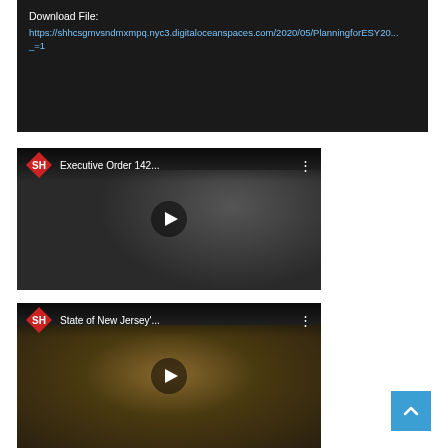Download File: https://shhcsgmvsndmxmpq.nyc3.digitaloceanspaces.com/2020/05/PlanningforESY20... _=1
[Figure (screenshot): YouTube video thumbnail for 'Executive Order 142...' with SH diamond logo and play button]
[Figure (screenshot): YouTube video thumbnail for 'State of New Jersey'...' with SH diamond logo and play button]